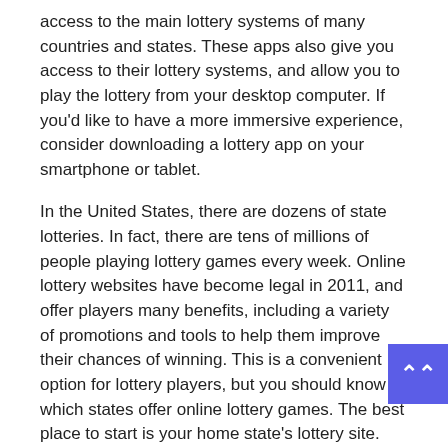access to the main lottery systems of many countries and states. These apps also give you access to their lottery systems, and allow you to play the lottery from your desktop computer. If you'd like to have a more immersive experience, consider downloading a lottery app on your smartphone or tablet.
In the United States, there are dozens of state lotteries. In fact, there are tens of millions of people playing lottery games every week. Online lottery websites have become legal in 2011, and offer players many benefits, including a variety of promotions and tools to help them improve their chances of winning. This is a convenient option for lottery players, but you should know which states offer online lottery games. The best place to start is your home state's lottery site.